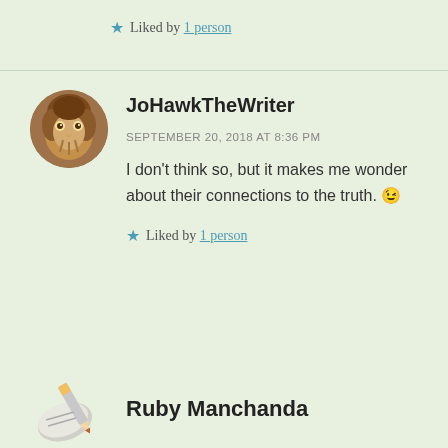★ Liked by 1 person
[Figure (photo): Circular avatar photo of a hawk (bird of prey) facing forward, brown and white feathers]
JoHawkTheWriter
SEPTEMBER 20, 2018 AT 8:36 PM
I don't think so, but it makes me wonder about their connections to the truth. 😉
★ Liked by 1 person
[Figure (illustration): Avatar icon showing a pencil writing on a notepad/paper, grayscale illustration]
Ruby Manchanda